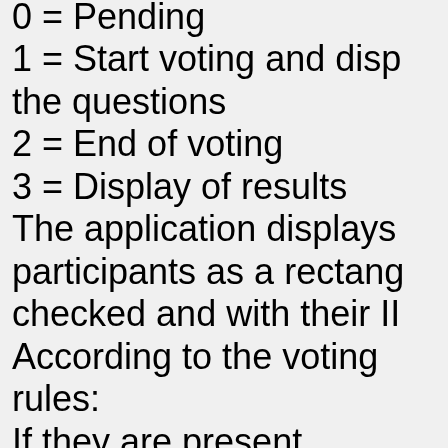0 = Pending
1 = Start voting and disp the questions
2 = End of voting
3 = Display of results
The application displays participants as a rectang checked and with their II According to the voting rules:
If they are present